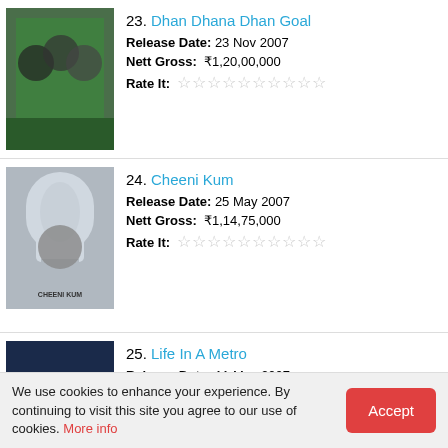23. Dhan Dhana Dhan Goal
Release Date: 23 Nov 2007
Nett Gross: ₹1,20,00,000
Rate It:
24. Cheeni Kum
Release Date: 25 May 2007
Nett Gross: ₹1,14,75,000
Rate It:
25. Life In A Metro
Release Date: 11 May 2007
Nett Gross: ₹98,00,000
Rate It:
26. Naqaab
Release Date: 13 Jul 2007
Nett Gross: ₹93,50,000
We use cookies to enhance your experience. By continuing to visit this site you agree to our use of cookies. More info